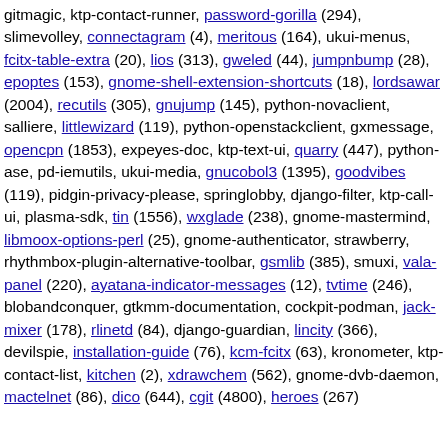gitmagic, ktp-contact-runner, password-gorilla (294), slimevolley, connectagram (4), meritous (164), ukui-menus, fcitx-table-extra (20), lios (313), gweled (44), jumpnbump (28), epoptes (153), gnome-shell-extension-shortcuts (18), lordsawar (2004), recutils (305), gnujump (145), python-novaclient, salliere, littlewizard (119), python-openstackclient, gxmessage, opencpn (1853), expeyes-doc, ktp-text-ui, quarry (447), python-ase, pd-iemutils, ukui-media, gnucobol3 (1395), goodvibes (119), pidgin-privacy-please, springlobby, django-filter, ktp-call-ui, plasma-sdk, tin (1556), wxglade (238), gnome-mastermind, libmoox-options-perl (25), gnome-authenticator, strawberry, rhythmbox-plugin-alternative-toolbar, gsmlib (385), smuxi, vala-panel (220), ayatana-indicator-messages (12), tvtime (246), blobandconquer, gtkmm-documentation, cockpit-podman, jack-mixer (178), rlinetd (84), django-guardian, lincity (366), devilspie, installation-guide (76), kcm-fcitx (63), kronometer, ktp-contact-list, kitchen (2), xdrawchem (562), gnome-dvb-daemon, mactelnet (86), dico (644), cgit (4800), heroes (267)